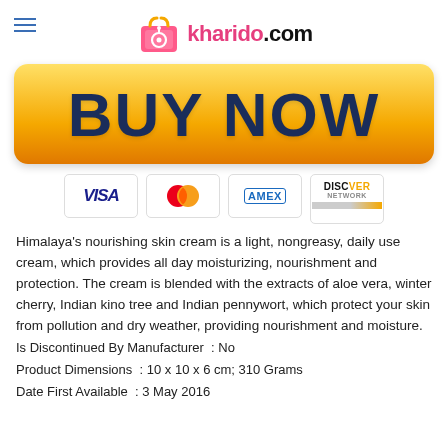kharido.com
[Figure (other): BUY NOW yellow gradient button]
[Figure (other): Payment method icons: VISA, MasterCard, AMEX, DISCOVER]
Himalaya's nourishing skin cream is a light, nongreasy, daily use cream, which provides all day moisturizing, nourishment and protection. The cream is blended with the extracts of aloe vera, winter cherry, Indian kino tree and Indian pennywort, which protect your skin from pollution and dry weather, providing nourishment and moisture.
Is Discontinued By Manufacturer : No
Product Dimensions : 10 x 10 x 6 cm; 310 Grams
Date First Available : 3 May 2016